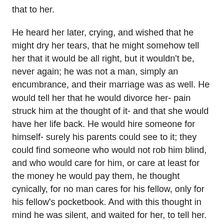that to her.
He heard her later, crying, and wished that he might dry her tears, that he might somehow tell her that it would be all right, but it wouldn't be, never again; he was not a man, simply an encumbrance, and their marriage was as well. He would tell her that he would divorce her- pain struck him at the thought of it- and that she would have her life back. He would hire someone for himself- surely his parents could see to it; they could find someone who would not rob him blind, and who would care for him, or care at least for the money he would pay them, he thought cynically, for no man cares for his fellow, only for his fellow's pocketbook. And with this thought in mind he was silent, and waited for her, to tell her.
They were in bed. She had cuddled up beside him and perhaps thought him asleep. “I will divorce you, if you wish it,” he said, and the words sounded curt and formal, and harsh, more harsh than he had wished them to be. “I will divorce you,” he said more softly, “this is no life for you,” but he was stopped with the touch of a finger to his lips, and then her mouth, salty and sweet beneath his, and her